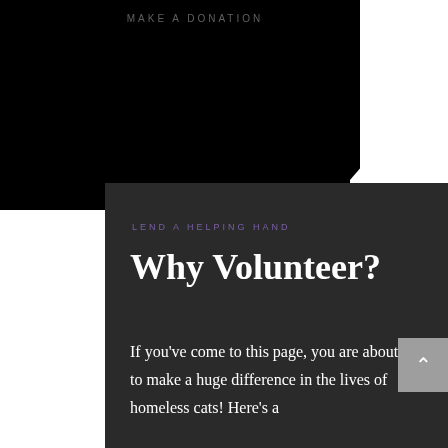[Figure (illustration): Black circular shape with 'MAKE A DONATION' text partially visible at top, white background on right side, decorative wave/swoosh shape at bottom creating a transition to dark content area below]
LEND A HELPING HAND
Why Volunteer?
If you've come to this page, you are about to make a huge difference in the lives of homeless cats! Here's a